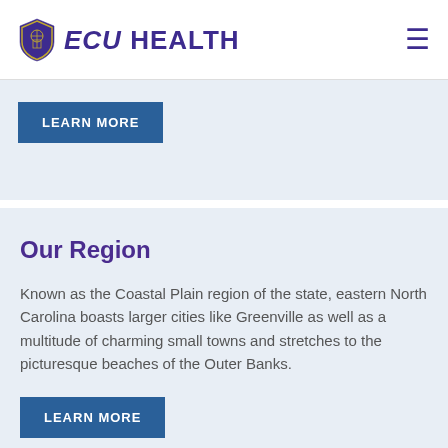ECU HEALTH
LEARN MORE
Our Region
Known as the Coastal Plain region of the state, eastern North Carolina boasts larger cities like Greenville as well as a multitude of charming small towns and stretches to the picturesque beaches of the Outer Banks.
LEARN MORE